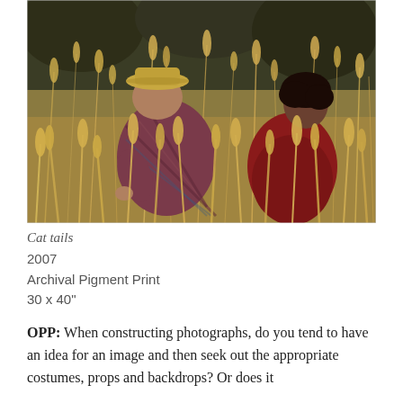[Figure (photo): A film-like photograph of two people crouching among tall wild grasses (foxtail/cat tail plants). The person on the left wears a plaid shirt and straw hat; the person on the right wears a red outfit. The scene is outdoors in a natural field setting.]
Cat tails
2007
Archival Pigment Print
30 x 40"
OPP: When constructing photographs, do you tend to have an idea for an image and then seek out the appropriate costumes, props and backdrops? Or does it